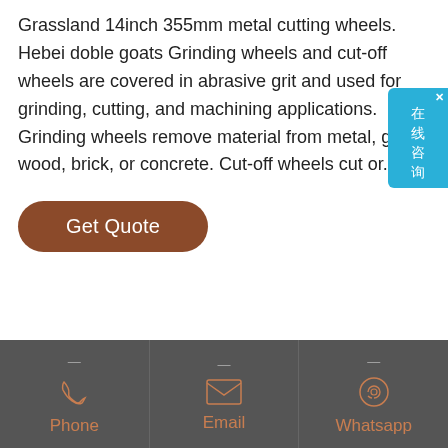Grassland 14inch 355mm metal cutting wheels. Hebei doble goats Grinding wheels and cut-off wheels are covered in abrasive grit and used for grinding, cutting, and machining applications. Grinding wheels remove material from metal, glass, wood, brick, or concrete. Cut-off wheels cut or...
[Figure (other): Get Quote button - a rounded brown/terracotta colored button with white text reading 'Get Quote']
[Figure (other): Floating online chat widget (在线咨询) with teal/blue background on right side of page]
[Figure (other): Footer bar with three columns: Phone (phone icon), Email (envelope icon), Whatsapp (whatsapp icon), dark gray background with brown/copper labels]